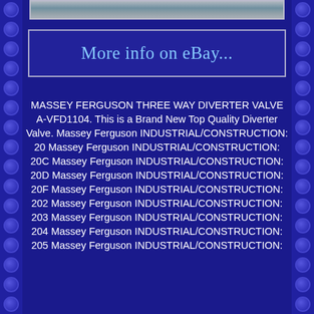[Figure (photo): Top portion of a product photo showing a metal diverter valve component, partially cropped at top of page]
[Figure (screenshot): eBay listing button with text 'More info on eBay...' in light blue cursive font on dark blue background with rectangular border]
MASSEY FERGUSON THREE WAY DIVERTER VALVE A-VFD1104. This is a Brand New Top Quality Diverter Valve. Massey Ferguson INDUSTRIAL/CONSTRUCTION: 20 Massey Ferguson INDUSTRIAL/CONSTRUCTION: 20C Massey Ferguson INDUSTRIAL/CONSTRUCTION: 20D Massey Ferguson INDUSTRIAL/CONSTRUCTION: 20F Massey Ferguson INDUSTRIAL/CONSTRUCTION: 202 Massey Ferguson INDUSTRIAL/CONSTRUCTION: 203 Massey Ferguson INDUSTRIAL/CONSTRUCTION: 204 Massey Ferguson INDUSTRIAL/CONSTRUCTION: 205 Massey Ferguson INDUSTRIAL/CONSTRUCTION: